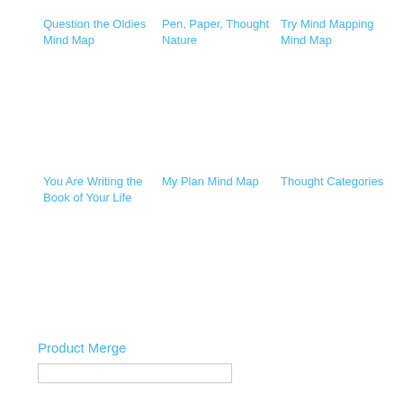Question the Oldies Mind Map
Pen, Paper, Thought Nature
Try Mind Mapping Mind Map
You Are Writing the Book of Your Life
My Plan Mind Map
Thought Categories
Product Merge